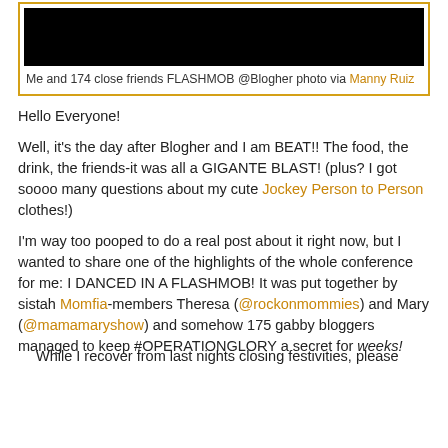[Figure (photo): Black photo image at top center inside orange/gold border]
Me and 174 close friends FLASHMOB @Blogher photo via Manny Ruiz
Hello Everyone!
Well, it's the day after Blogher and I am BEAT!! The food, the drink, the friends-it was all a GIGANTE BLAST! (plus? I got soooo many questions about my cute Jockey Person to Person clothes!)
I'm way too pooped to do a real post about it right now, but I wanted to share one of the highlights of the whole conference for me: I DANCED IN A FLASHMOB! It was put together by sistah Momfia-members Theresa (@rockonmommies) and Mary (@mamamaryshow) and somehow 175 gabby bloggers managed to keep #OPERATIONGLORY a secret for weeks!
While I recover from last nights closing festivities, please